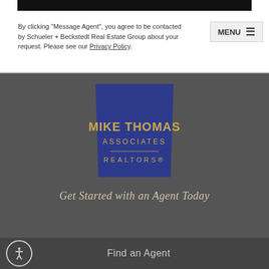By clicking "Message Agent", you agree to be contacted by Schueler + Beckstedt Real Estate Group about your request. Please see our Privacy Policy.
[Figure (logo): Mike Thomas Associates Realtors logo — blue trapezoid shape with gold text reading MIKE THOMAS ASSOCIATES and REALTORS®]
Get Started with an Agent Today
Find an Agent